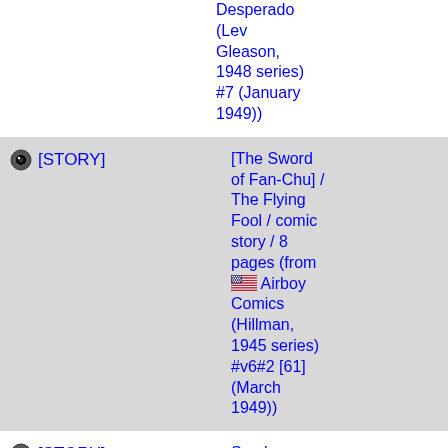Desperado (Lev Gleason, 1948 series) #7 (January 1949))
[STORY] [The Sword of Fan-Chu] / The Flying Fool / comic story / 8 pages (from Airboy Comics (Hillman, 1945 series) #v6#2 [61] (March 1949))
[STORY] Sombrero Nick Tebbets / comic story / 10 pages (from Black Diamond Western (Lev